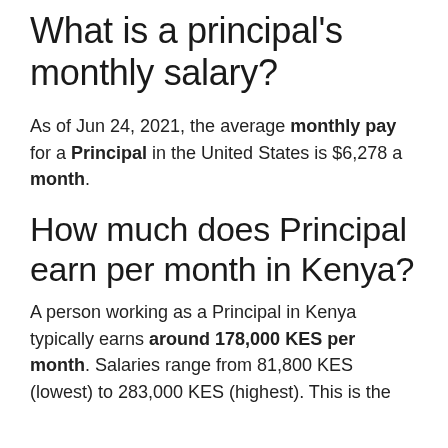What is a principal's monthly salary?
As of Jun 24, 2021, the average monthly pay for a Principal in the United States is $6,278 a month.
How much does Principal earn per month in Kenya?
A person working as a Principal in Kenya typically earns around 178,000 KES per month. Salaries range from 81,800 KES (lowest) to 283,000 KES (highest). This is the